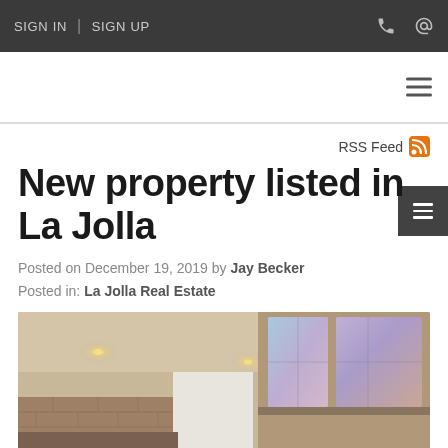SIGN IN  |  SIGN UP
New property listed in La Jolla
Posted on December 19, 2019 by Jay Becker
Posted in: La Jolla Real Estate
[Figure (photo): Interior photo of a modern property showing recessed ceiling lights, a stone or brick accent wall, and large illuminated skylight windows with purple/blue hues on the right side]